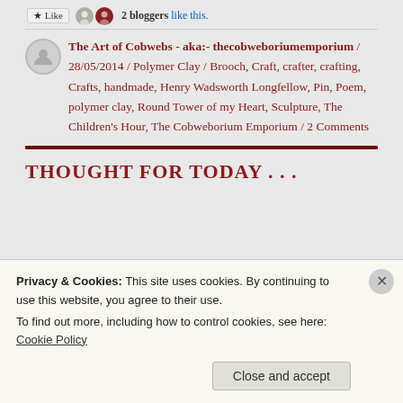2 bloggers like this.
The Art of Cobwebs - aka:- thecobweboriumemporium / 28/05/2014 / Polymer Clay / Brooch, Craft, crafter, crafting, Crafts, handmade, Henry Wadsworth Longfellow, Pin, Poem, polymer clay, Round Tower of my Heart, Sculpture, The Children's Hour, The Cobweborium Emporium / 2 Comments
THOUGHT FOR TODAY . . .
Privacy & Cookies: This site uses cookies. By continuing to use this website, you agree to their use.
To find out more, including how to control cookies, see here: Cookie Policy